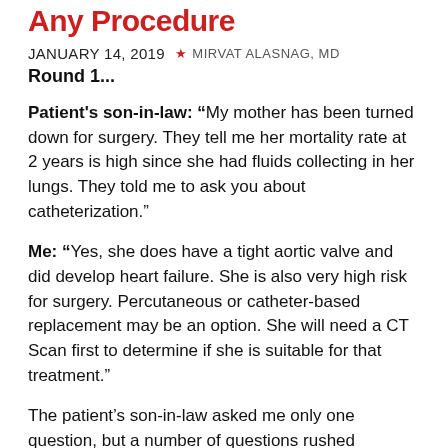Any Procedure
JANUARY 14, 2019  MIRVAT ALASNAG, MD
Round 1...
Patient's son-in-law: “My mother has been turned down for surgery. They tell me her mortality rate at 2 years is high since she had fluids collecting in her lungs. They told me to ask you about catheterization.”
Me: “Yes, she does have a tight aortic valve and did develop heart failure. She is also very high risk for surgery. Percutaneous or catheter-based replacement may be an option. She will need a CT Scan first to determine if she is suitable for that treatment.”
The patient’s son-in-law asked me only one question, but a number of questions rushed